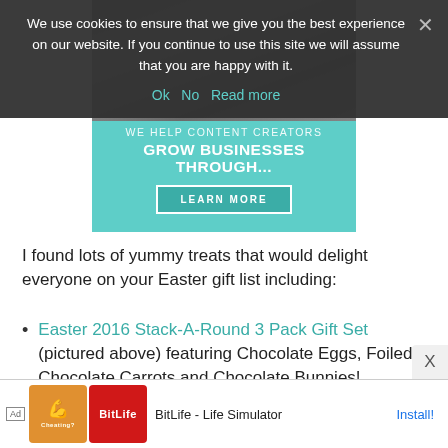We use cookies to ensure that we give you the best experience on our website. If you continue to use this site we will assume that you are happy with it.
Ok   No   Read more
[Figure (screenshot): Website advertisement banner showing 'WE HELP CONTENT CREATORS GROW BUSINESSES THROUGH...' with a LEARN MORE button on a teal background, with a photo of people in the upper portion.]
I found lots of yummy treats that would delight everyone on your Easter gift list including:
Easter 2016 Stack-A-Round 3 Pack Gift Set (pictured above) featuring Chocolate Eggs, Foiled Chocolate Carrots and Chocolate Bunnies!
[Figure (screenshot): Bottom advertisement banner for BitLife - Life Simulator app with Ad label, muscle icon, BitLife icon, app name, and Install! button.]